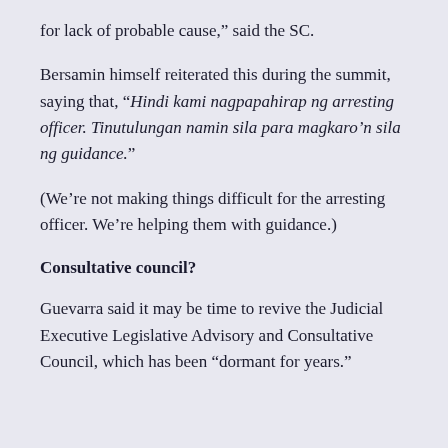for lack of probable cause,” said the SC.
Bersamin himself reiterated this during the summit, saying that, “Hindi kami nagpapahirap ng arresting officer. Tinutulungan namin sila para magkaro’n sila ng guidance.”
(We’re not making things difficult for the arresting officer. We’re helping them with guidance.)
Consultative council?
Guevarra said it may be time to revive the Judicial Executive Legislative Advisory and Consultative Council, which has been “dormant for years.”